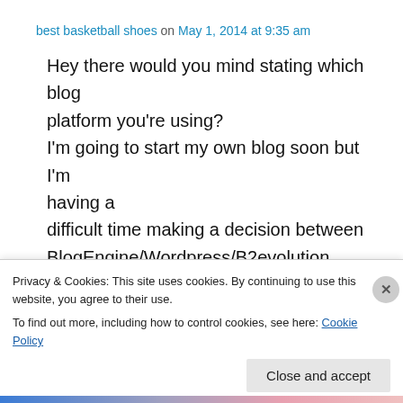best basketball shoes on May 1, 2014 at 9:35 am
Hey there would you mind stating which blog platform you're using? I'm going to start my own blog soon but I'm having a difficult time making a decision between BlogEngine/Wordpress/B2evolution and Drupal. The reason I ask is because your layout seems different than most blogs and I'm looking for
Privacy & Cookies: This site uses cookies. By continuing to use this website, you agree to their use. To find out more, including how to control cookies, see here: Cookie Policy
Close and accept